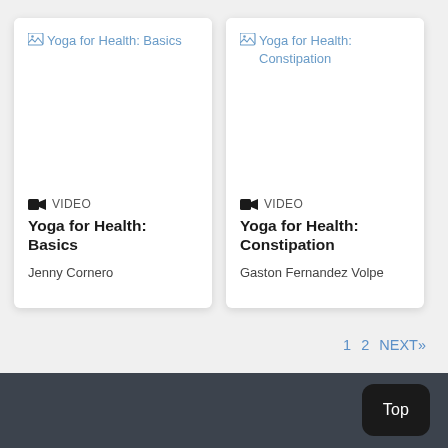[Figure (other): Broken image placeholder for 'Yoga for Health: Basics' video thumbnail]
VIDEO
Yoga for Health: Basics
Jenny Cornero
[Figure (other): Broken image placeholder for 'Yoga for Health: Constipation' video thumbnail]
VIDEO
Yoga for Health: Constipation
Gaston Fernandez Volpe
1  2  NEXT»
Top